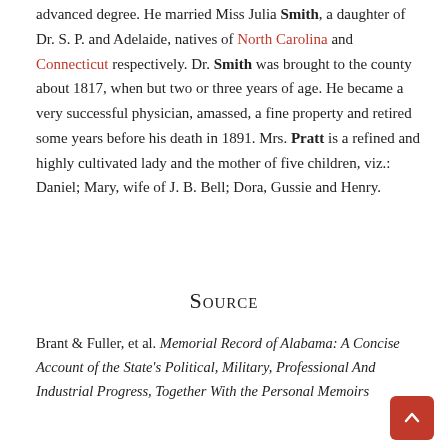advanced degree. He married Miss Julia Smith, a daughter of Dr. S. P. and Adelaide, natives of North Carolina and Connecticut respectively. Dr. Smith was brought to the county about 1817, when but two or three years of age. He became a very successful physician, amassed, a fine property and retired some years before his death in 1891. Mrs. Pratt is a refined and highly cultivated lady and the mother of five children, viz.: Daniel; Mary, wife of J. B. Bell; Dora, Gussie and Henry.
Source
Brant & Fuller, et al. Memorial Record of Alabama: A Concise Account of the State's Political, Military, Professional And Industrial Progress, Together With the Personal Memoirs